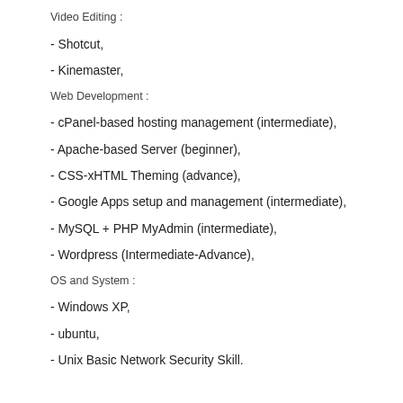Video Editing :
- Shotcut,
- Kinemaster,
Web Development :
- cPanel-based hosting management (intermediate),
- Apache-based Server (beginner),
- CSS-xHTML Theming (advance),
- Google Apps setup and management (intermediate),
- MySQL + PHP MyAdmin (intermediate),
- Wordpress (Intermediate-Advance),
OS and System :
- Windows XP,
- ubuntu,
- Unix Basic Network Security Skill.